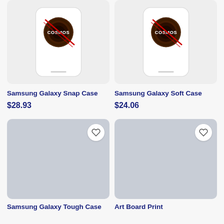[Figure (photo): Samsung Galaxy Snap Case phone case product image with Cosmos logo]
[Figure (photo): Samsung Galaxy Soft Case phone case product image with Cosmos logo]
Samsung Galaxy Snap Case
Samsung Galaxy Soft Case
$28.93
$24.06
[Figure (photo): Samsung Galaxy Tough Case product image placeholder (grey)]
[Figure (photo): Art Board Print product image placeholder (grey)]
Samsung Galaxy Tough Case
Art Board Print